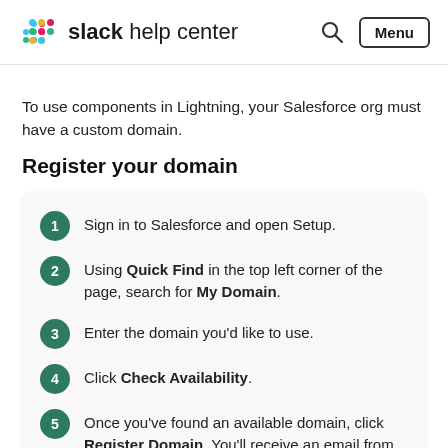slack help center
To use components in Lightning, your Salesforce org must have a custom domain.
Register your domain
Sign in to Salesforce and open Setup.
Using Quick Find in the top left corner of the page, search for My Domain.
Enter the domain you'd like to use.
Click Check Availability.
Once you've found an available domain, click Register Domain. You'll receive an email from Salesforce when registration is